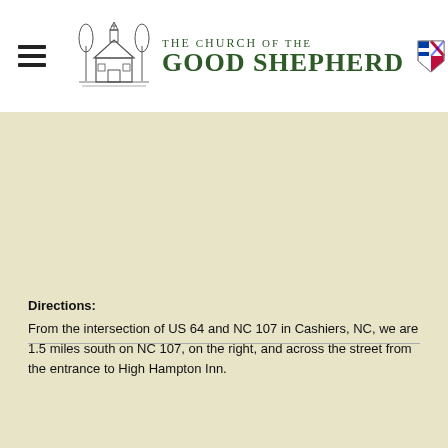The Church of the Good Shepherd
Directions:
From the intersection of US 64 and NC 107 in Cashiers, NC, we are 1.5 miles south on NC 107, on the right, and across the street from the entrance to High Hampton Inn.
[Figure (other): Social media icons: Facebook, YouTube, Email, Twitter]